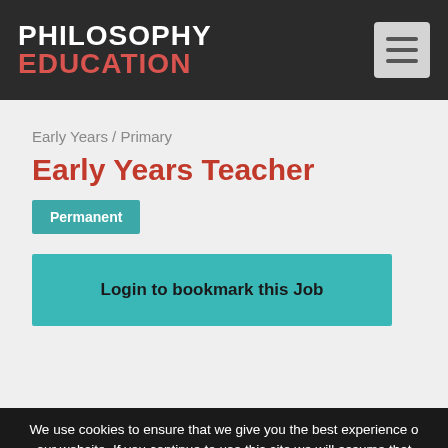[Figure (logo): Philosophy Education logo with white PHILOSOPHY text and red EDUCATION text on dark background, with hamburger menu icon]
Early Years / Primary
Early Years Teacher
Permanent
Login to bookmark this Job
We use cookies to ensure that we give you the best experience on our website. If you continue to use this site we will assume that you are happy with it.